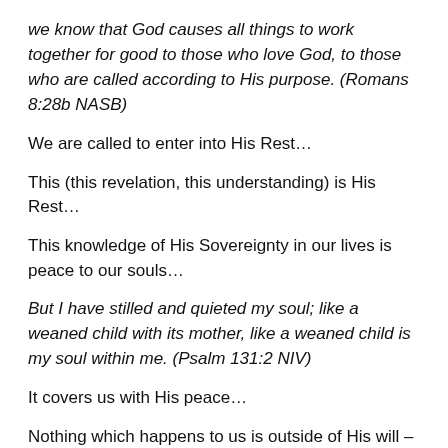we know that God causes all things to work together for good to those who love God, to those who are called according to His purpose. (Romans 8:28b NASB)
We are called to enter into His Rest…
This (this revelation, this understanding) is His Rest…
This knowledge of His Sovereignty in our lives is peace to our souls…
But I have stilled and quieted my soul; like a weaned child with its mother, like a weaned child is my soul within me. (Psalm 131:2 NIV)
It covers us with His peace…
Nothing which happens to us is outside of His will – what He has already decided to permit – for our lives.